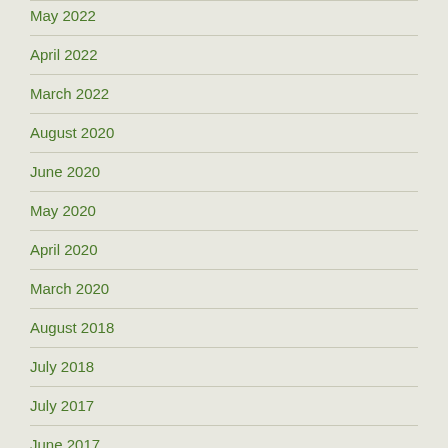May 2022
April 2022
March 2022
August 2020
June 2020
May 2020
April 2020
March 2020
August 2018
July 2018
July 2017
June 2017
December 2016
November 2016
October 2016